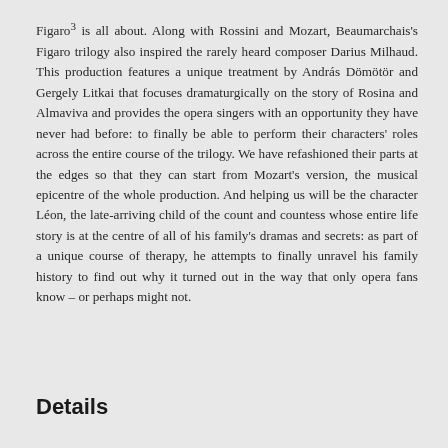Figaro³ is all about. Along with Rossini and Mozart, Beaumarchais's Figaro trilogy also inspired the rarely heard composer Darius Milhaud. This production features a unique treatment by András Dömötör and Gergely Litkai that focuses dramaturgically on the story of Rosina and Almaviva and provides the opera singers with an opportunity they have never had before: to finally be able to perform their characters' roles across the entire course of the trilogy. We have refashioned their parts at the edges so that they can start from Mozart's version, the musical epicentre of the whole production. And helping us will be the character Léon, the late-arriving child of the count and countess whose entire life story is at the centre of all of his family's dramas and secrets: as part of a unique course of therapy, he attempts to finally unravel his family history to find out why it turned out in the way that only opera fans know – or perhaps might not.
Details